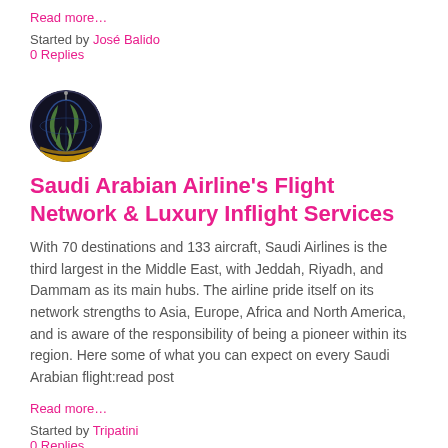Read more…
Started by José Balido
0 Replies
[Figure (illustration): Globe icon with world map, circular, dark background]
Saudi Arabian Airline's Flight Network & Luxury Inflight Services
With 70 destinations and 133 aircraft, Saudi Airlines is the third largest in the Middle East, with Jeddah, Riyadh, and Dammam as its main hubs. The airline pride itself on its network strengths to Asia, Europe, Africa and North America, and is aware of the responsibility of being a pioneer within its region. Here some of what you can expect on every Saudi Arabian flight:read post
Read more…
Started by Tripatini
0 Replies
[Figure (illustration): Globe icon with world map, circular, dark background]
Saudi Arabia opens up for tourism